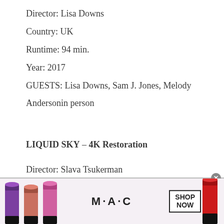Director: Lisa Downs
Country: UK
Runtime: 94 min.
Year: 2017
GUESTS: Lisa Downs, Sam J. Jones, Melody Andersonin person
LIQUID SKY – 4K Restoration
Director: Slava Tsukerman
Country: USA
Runtime: 112 min.
Year: 1982
GUESTS: SlavaTsukerman in Person
[Figure (illustration): MAC cosmetics advertisement banner showing colorful lipsticks (purple, pink, red), MAC logo text, and a SHOP NOW button with a close (x) button in the upper right corner.]